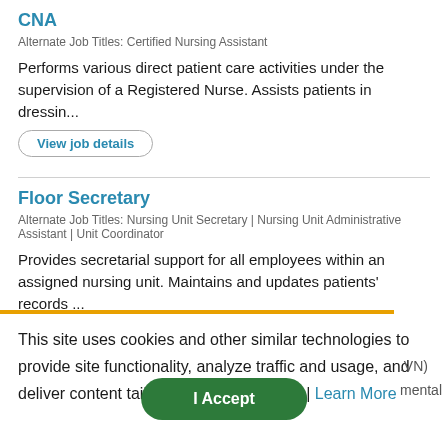CNA
Alternate Job Titles: Certified Nursing Assistant
Performs various direct patient care activities under the supervision of a Registered Nurse. Assists patients in dressin...
View job details
Floor Secretary
Alternate Job Titles: Nursing Unit Secretary | Nursing Unit Administrative Assistant | Unit Coordinator
Provides secretarial support for all employees within an assigned nursing unit. Maintains and updates patients' records ...
View job details
This site uses cookies and other similar technologies to provide site functionality, analyze traffic and usage, and deliver content tailored to your interests. | Learn More
I Accept